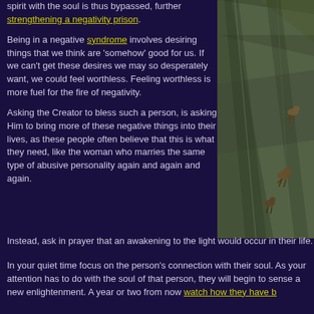spirit with the soul is thus bypassed, further strengthening a negativity prison.
Being in a negative syndrome involves desiring things that we think are 'somehow' good for us. If we can't get these desires we may so desperately want, we could feel worthless. Feeling worthless is more fuel for the fire of negativity.
Asking the Creator to bless such a person, is asking Him to bring more of these negative things into their lives, as these people often believe that this is what they need, like the woman who marries the same type of abusive personality again and again and again. Instead, ask in prayer that an awakening to the light would occur in their life.
[Figure (photo): Animals (possibly mountain goats or similar) climbing a steep rocky cliff face]
In your quiet time focus on the person's connection with their soul. As your attention has to do with the soul of that person, they will begin to sense a new enlightenment. A year or two from now watch how they have b...